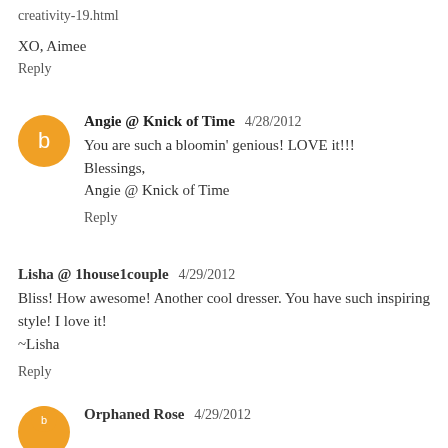creativity-19.html
XO, Aimee
Reply
Angie @ Knick of Time  4/28/2012
You are such a bloomin' genious! LOVE it!!!
Blessings,
Angie @ Knick of Time
Reply
Lisha @ 1house1couple  4/29/2012
Bliss! How awesome! Another cool dresser. You have such inspiring style! I love it!
~Lisha
Reply
Orphaned Rose  4/29/2012